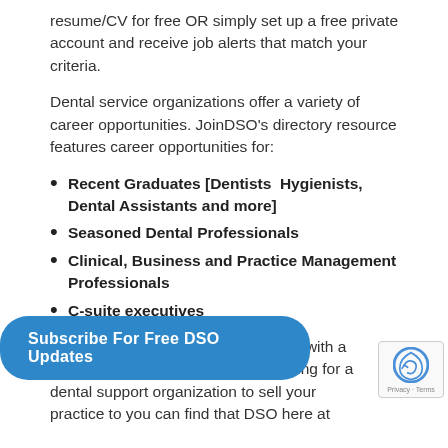resume/CV for free OR simply set up a free private account and receive job alerts that match your criteria.
Dental service organizations offer a variety of career opportunities. JoinDSO's directory resource features career opportunities for:
Recent Graduates [Dentists Hygienists, Dental Assistants and more]
Seasoned Dental Professionals
Clinical, Business and Practice Management Professionals
C-suite executives
Whether you are looking for a career with a DSO or a private practice, or searching for a dental support organization to sell your practice to you can find that DSO here at
Subscribe For Free DSO Updates